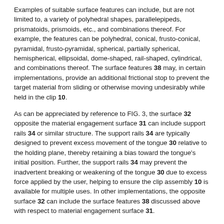Examples of suitable surface features can include, but are not limited to, a variety of polyhedral shapes, parallelepipeds, prismatoids, prismoids, etc., and combinations thereof. For example, the features can be polyhedral, conical, frusto-conical, pyramidal, frusto-pyramidal, spherical, partially spherical, hemispherical, ellipsoidal, dome-shaped, rail-shaped, cylindrical, and combinations thereof. The surface features 38 may, in certain implementations, provide an additional frictional stop to prevent the target material from sliding or otherwise moving undesirably while held in the clip 10.
As can be appreciated by reference to FIG. 3, the surface 32 opposite the material engagement surface 31 can include support rails 34 or similar structure. The support rails 34 are typically designed to prevent excess movement of the tongue 30 relative to the holding plane, thereby retaining a bias toward the tongue's initial position. Further, the support rails 34 may prevent the inadvertent breaking or weakening of the tongue 30 due to excess force applied by the user, helping to ensure the clip assembly 10 is available for multiple uses. In other implementations, the opposite surface 32 can include the surface features 38 discussed above with respect to material engagement surface 31.
The body 20 of the clip can be made of several different types of material, including but not limited to metals and plastics. Particularly suitable plastics include nylon, polypropylene, and polycarbonate. The tongue 30 is...